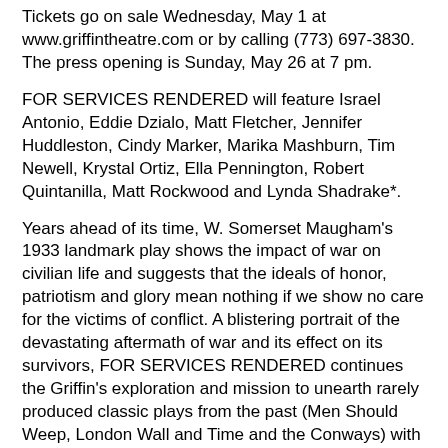Tickets go on sale Wednesday, May 1 at www.griffintheatre.com or by calling (773) 697-3830. The press opening is Sunday, May 26 at 7 pm.
FOR SERVICES RENDERED will feature Israel Antonio, Eddie Dzialo, Matt Fletcher, Jennifer Huddleston, Cindy Marker, Marika Mashburn, Tim Newell, Krystal Ortiz, Ella Pennington, Robert Quintanilla, Matt Rockwood and Lynda Shadrake*.
Years ahead of its time, W. Somerset Maugham's 1933 landmark play shows the impact of war on civilian life and suggests that the ideals of honor, patriotism and glory mean nothing if we show no care for the victims of conflict. A blistering portrait of the devastating aftermath of war and its effect on its survivors, FOR SERVICES RENDERED continues the Griffin's exploration and mission to unearth rarely produced classic plays from the past (Men Should Weep, London Wall and Time and the Conways) with relevance to today and introduce them to Chicago audiences for the first time.